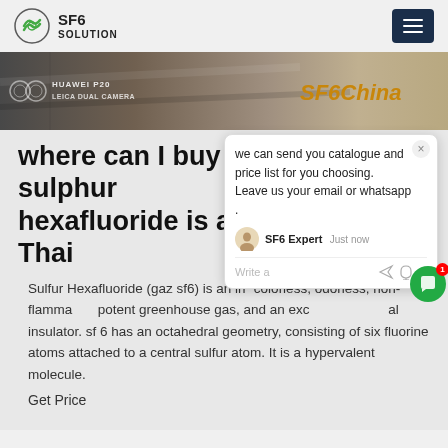SF6 SOLUTION
[Figure (photo): Hero banner showing HUAWEI P20 LEICA DUAL CAMERA text on left with SF6China brand text on right, set against a textured stone/wood background]
where can I buy sulphur hexafluoride is a Thailand
Sulfur Hexafluoride (gaz sf6) is an inorganic, colorless, odorless, non-flammable, potent greenhouse gas, and an excellent electrical insulator. sf 6 has an octahedral geometry, consisting of six fluorine atoms attached to a central sulfur atom. It is a hypervalent molecule.
Get Price
[Figure (screenshot): Chat popup widget with message: we can send you catalogue and price list for you choosing. Leave us your email or whatsapp. SF6 Expert agent shown with just now timestamp. Write a message input area with thumbs up and attachment icons.]
[Figure (photo): Bottom image strip showing industrial or outdoor scene]